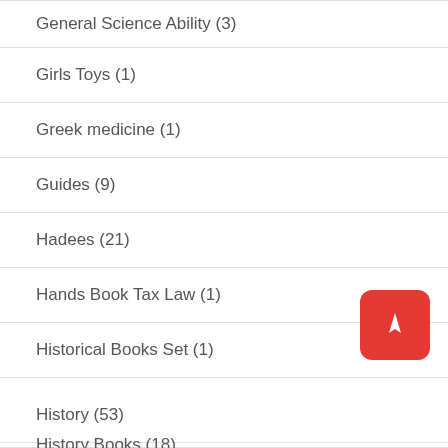General Science Ability (3)
Girls Toys (1)
Greek medicine (1)
Guides (9)
Hadees (21)
Hands Book Tax Law (1)
Historical Books Set (1)
History (33)
History (53)
History Books (18)